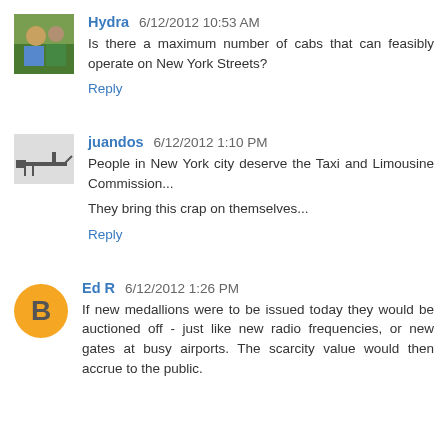Hydra 6/12/2012 10:53 AM
Is there a maximum number of cabs that can feasibly operate on New York Streets?
Reply
juandos 6/12/2012 1:10 PM
People in New York city deserve the Taxi and Limousine Commission...
They bring this crap on themselves...
Reply
Ed R 6/12/2012 1:26 PM
If new medallions were to be issued today they would be auctioned off - just like new radio frequencies, or new gates at busy airports. The scarcity value would then accrue to the public.